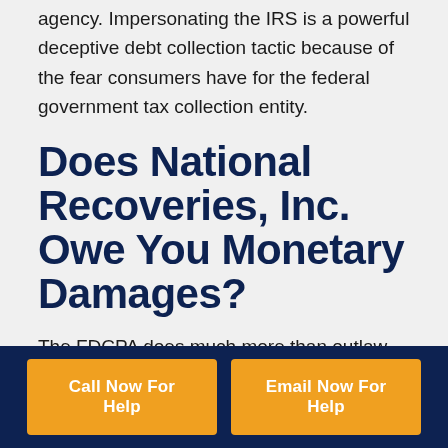agency. Impersonating the IRS is a powerful deceptive debt collection tactic because of the fear consumers have for the federal government tax collection entity.
Does National Recoveries, Inc. Owe You Monetary Damages?
The FDCPA does much more than outlaw dozens of debt collection tactics. It also includes a provision that grants consumers the right to file claims seeking monetary damages. As a financial award that punishes debt collection agencies for FDCPA violations, statutory damages have a
Call Now For Help
Email Now For Help